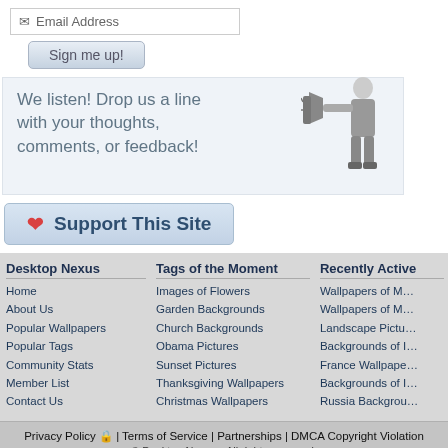Email Address
Sign me up!
We listen! Drop us a line with your thoughts, comments, or feedback!
Support This Site
Desktop Nexus
Home
About Us
Popular Wallpapers
Popular Tags
Community Stats
Member List
Contact Us
Tags of the Moment
Images of Flowers
Garden Backgrounds
Church Backgrounds
Obama Pictures
Sunset Pictures
Thanksgiving Wallpapers
Christmas Wallpapers
Recently Active
Wallpapers of Mo
Wallpapers of Mo
Landscape Pictu
Backgrounds of I
France Wallpape
Backgrounds of I
Russia Backgrou
Privacy Policy | Terms of Service | Partnerships | DMCA Copyright Violation
© Desktop Nexus - All rights reserved.
Page rendered with 7 queries (and 0 cached) in 0.081 seconds from server 92.